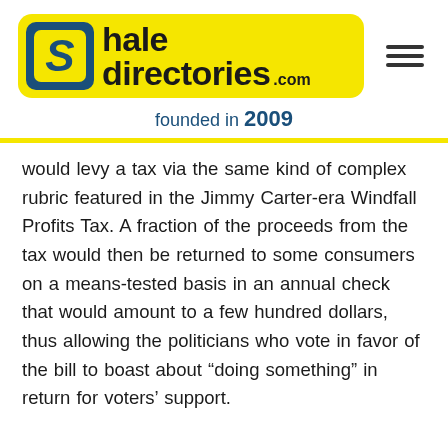[Figure (logo): Shale Directories .com logo — yellow rounded rectangle background with blue S box and bold black text, plus hamburger menu icon on right]
founded in 2009
would levy a tax via the same kind of complex rubric featured in the Jimmy Carter-era Windfall Profits Tax. A fraction of the proceeds from the tax would then be returned to some consumers on a means-tested basis in an annual check that would amount to a few hundred dollars, thus allowing the politicians who vote in favor of the bill to boast about “doing something” in return for voters’ support.